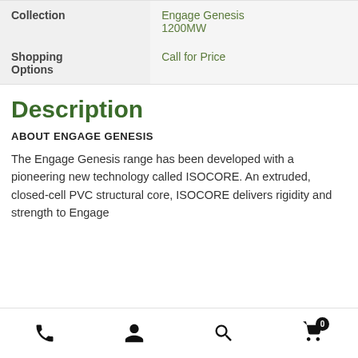| Collection | Engage Genesis 1200MW |
| Shopping Options | Call for Price |
Description
ABOUT ENGAGE GENESIS
The Engage Genesis range has been developed with a pioneering new technology called ISOCORE. An extruded, closed-cell PVC structural core, ISOCORE delivers rigidity and strength to Engage